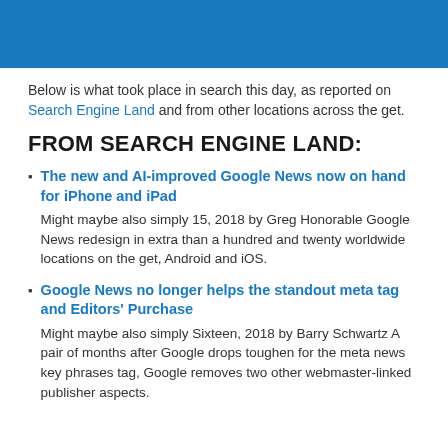[Figure (other): Blue header banner bar]
Below is what took place in search this day, as reported on Search Engine Land and from other locations across the get.
FROM SEARCH ENGINE LAND:
The new and AI-improved Google News now on hand for iPhone and iPad
Might maybe also simply 15, 2018 by Greg Honorable Google News redesign in extra than a hundred and twenty worldwide locations on the get, Android and iOS.
Google News no longer helps the standout meta tag and Editors' Purchase
Might maybe also simply Sixteen, 2018 by Barry Schwartz A pair of months after Google drops toughen for the meta news key phrases tag, Google removes two other webmaster-linked publisher aspects.